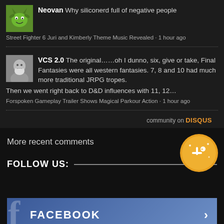Neovan Why siliconerd full of negative people
Street Fighter 6 Juri and Kimberly Theme Music Revealed · 1 hour ago
VCS 2.0 The original……oh I dunno, six, give or take, Final Fantasies were all western fantasies. 7, 8 and 10 had much more traditional JRPG tropes. Then we went right back to D&D influences with 11, 12…
Forspoken Gameplay Trailer Shows Magical Parkour Action · 1 hour ago
community on DISQUS
More recent comments
FOLLOW US:
FACEBOOK